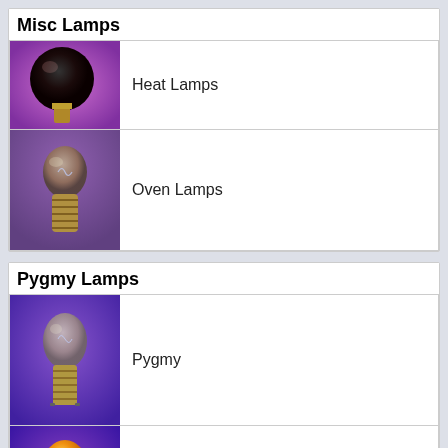Misc Lamps
[Figure (photo): Heat lamp bulb with dark red/infrared coating on purple background]
Heat Lamps
[Figure (photo): Oven lamp bulb with gold/brass screw base on purple-brown background]
Oven Lamps
Pygmy Lamps
[Figure (photo): Pygmy bulb with bayonet cap on purple background]
Pygmy
[Figure (photo): Pygmy coloured bulb (amber/orange) with bayonet cap on purple background]
Pygmy Coloured
Site Lighting
[Figure (photo): Site lighting lamps and tubes on purple background]
Lamps & Tubes